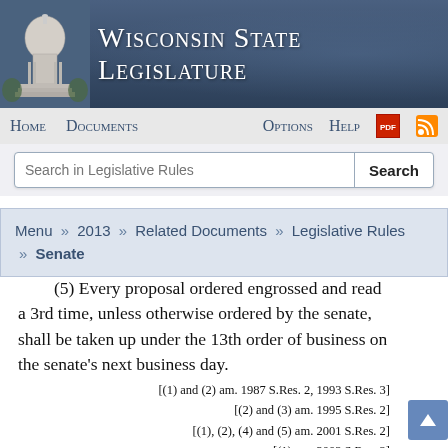Wisconsin State Legislature
Home  Documents  Options  Help
Search in Legislative Rules
Menu » 2013 » Related Documents » Legislative Rules » Senate
(5) Every proposal ordered engrossed and read a 3rd time, unless otherwise ordered by the senate, shall be taken up under the 13th order of business on the senate's next business day. [(1) and (2) am. 1987 S.Res. 2, 1993 S.Res. 3] [(2) and (3) am. 1995 S.Res. 2] [(1), (2), (4) and (5) am. 2001 S.Res. 2] [(1) am. 2003 S.Res. 3] [(1), (2) and (3) am. 2005 S.Res. [(1) am. 2007 S.R